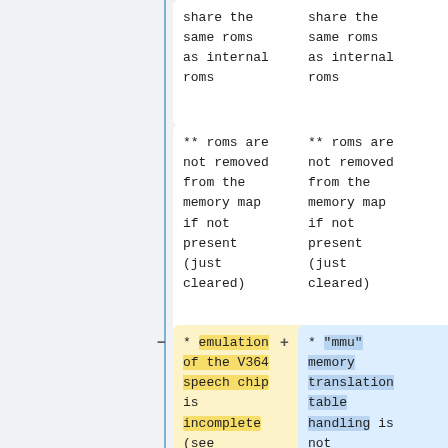share the same roms as internal roms
share the same roms as internal roms
** roms are not removed from the memory map if not present (just cleared)
** roms are not removed from the memory map if not present (just cleared)
* emulation of the V364 speech chip is incomplete (see [[Todo#t6721a]])
* "mmu" memory translation table handling is not implemented for